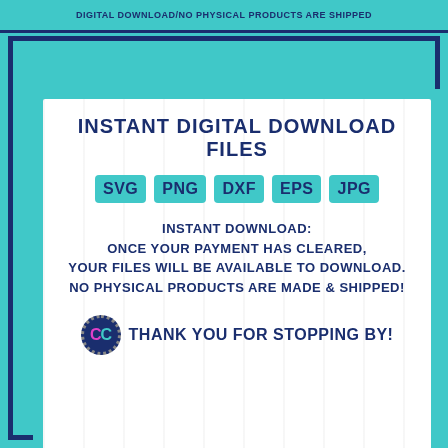DIGITAL DOWNLOAD/NO PHYSICAL PRODUCTS ARE SHIPPED
INSTANT DIGITAL DOWNLOAD FILES
SVG  PNG  DXF  EPS  JPG
INSTANT DOWNLOAD: ONCE YOUR PAYMENT HAS CLEARED, YOUR FILES WILL BE AVAILABLE TO DOWNLOAD. NO PHYSICAL PRODUCTS ARE MADE & SHIPPED!
THANK YOU FOR STOPPING BY!